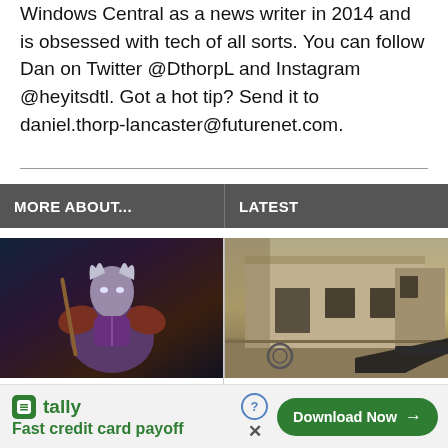Windows Central as a news writer in 2014 and is obsessed with tech of all sorts. You can follow Dan on Twitter @DthorpL and Instagram @heyitsdtl. Got a hot tip? Send it to daniel.thorp-lancaster@futurenet.com.
MORE ABOUT...
LATEST
[Figure (photo): WoW character – dark armored fantasy figure]
Returning WoW players
[Figure (screenshot): Halo Infinite game screenshot – first-person shooter view of a building]
New Halo Infinite leak
[Figure (infographic): Tally advertisement banner – Fast credit card payoff, Download Now button]